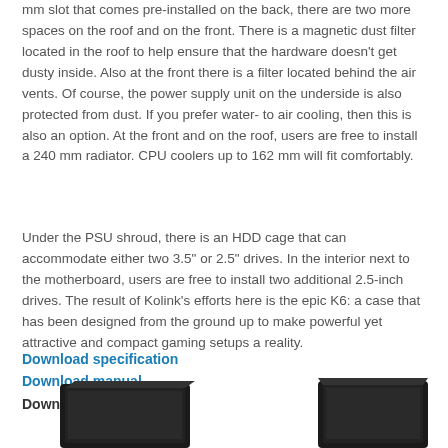mm slot that comes pre-installed on the back, there are two more spaces on the roof and on the front. There is a magnetic dust filter located in the roof to help ensure that the hardware doesn't get dusty inside. Also at the front there is a filter located behind the air vents. Of course, the power supply unit on the underside is also protected from dust. If you prefer water- to air cooling, then this is also an option. At the front and on the roof, users are free to install a 240 mm radiator. CPU coolers up to 162 mm will fit comfortably.
Under the PSU shroud, there is an HDD cage that can accommodate either two 3.5" or 2.5" drives. In the interior next to the motherboard, users are free to install two additional 2.5-inch drives. The result of Kolink's efforts here is the epic K6: a case that has been designed from the ground up to make powerful yet attractive and compact gaming setups a reality.
Download specification
Download manual
Download CE Doc
[Figure (photo): Two dark/black PC cases or components shown at the bottom of the page, partially cropped]